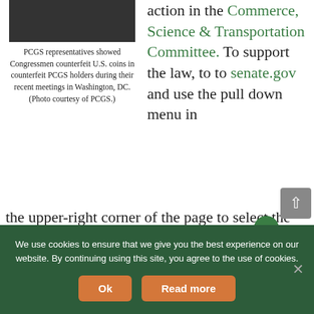[Figure (photo): Photo of PCGS representatives showing Congressmen counterfeit U.S. coins in counterfeit PCGS holders. Dark/black image at top.]
PCGS representatives showed Congressmen counterfeit U.S. coins in counterfeit PCGS holders during their recent meetings in Washington, DC. (Photo courtesy of PCGS.)
action in the Commerce, Science & Transportation Committee. To support the law, to to senate.gov and use the pull down menu in the upper-right corner of the page to select the state you live or work. Please take the time to contact both of your senators. In fact, if they hold town hall meetings in your area, you can
We use cookies to ensure that we give you the best experience on our website. By continuing using this site, you agree to the use of cookies.